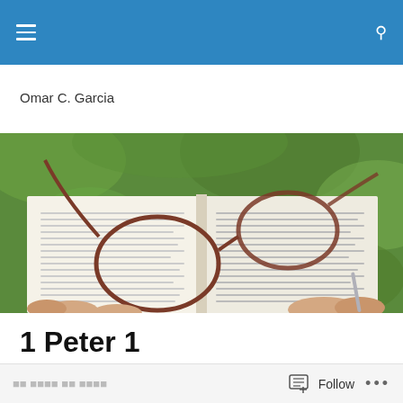Omar C. Garcia
[Figure (photo): Photo of an open Bible/book with eyeglasses resting on it, held by hands, with green blurred background]
1 Peter 1
Follow